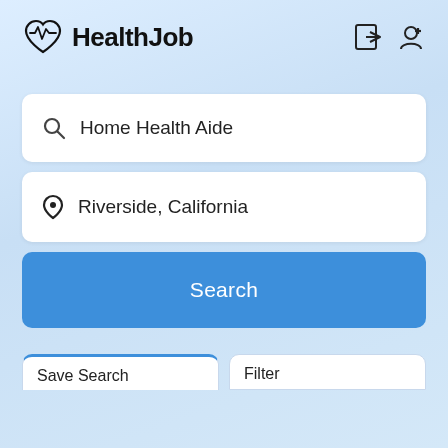[Figure (logo): HealthJob logo with heart and pulse icon]
Home Health Aide
Riverside, California
Search
Save Search
Filter